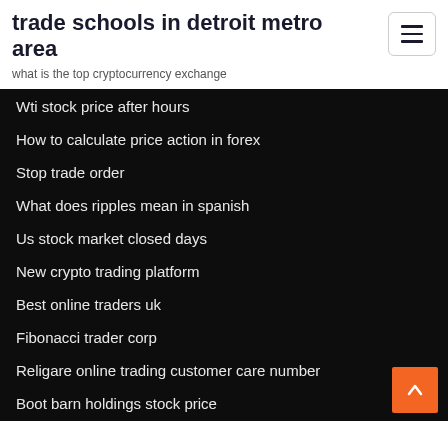trade schools in detroit metro area
what is the top cryptocurrency exchange
Wti stock price after hours
How to calculate price action in forex
Stop trade order
What does ripples mean in spanish
Us stock market closed days
New crypto trading platform
Best online traders uk
Fibonacci trader corp
Religare online trading customer care number
Boot barn holdings stock price